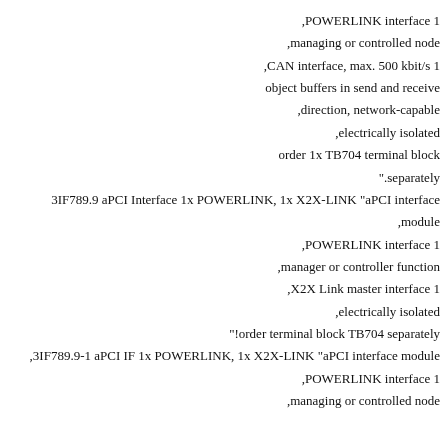1 POWERLINK interface,
managing or controlled node,
1 CAN interface, max. 500 kbit/s,
object buffers in send and receive
direction, network-capable,
electrically isolated,
order 1x TB704 terminal block
separately".
3IF789.9 aPCI Interface 1x POWERLINK, 1x X2X-LINK "aPCI interface
module,
POWERLINK interface 1,
manager or controller function,
X2X Link master interface 1,
electrically isolated,
"!order terminal block TB704 separately
,3IF789.9-1 aPCI IF 1x POWERLINK, 1x X2X-LINK "aPCI interface module
POWERLINK interface 1,
managing or controlled node,